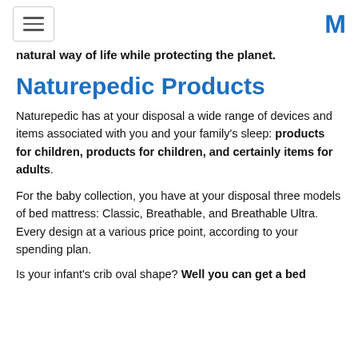[hamburger menu] [M logo]
natural way of life while protecting the planet.
Naturepedic Products
Naturepedic has at your disposal a wide range of devices and items associated with you and your family's sleep: products for children, products for children, and certainly items for adults.
For the baby collection, you have at your disposal three models of bed mattress: Classic, Breathable, and Breathable Ultra. Every design at a various price point, according to your spending plan.
Is your infant's crib oval shape? Well you can get a bed